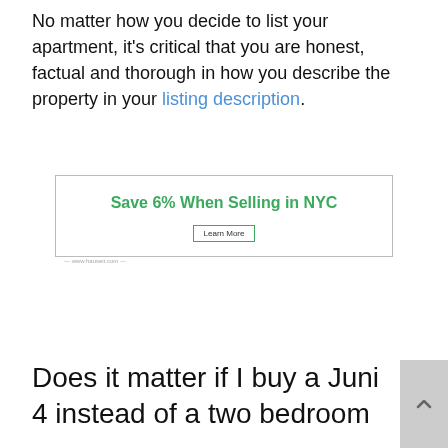No matter how you decide to list your apartment, it's critical that you are honest, factual and thorough in how you describe the property in your listing description.
[Figure (other): Advertisement box with green text 'Save 6% When Selling in NYC' and a 'Learn More' button, bordered rectangle with www.hauseit.com label]
Does it matter if I buy a Juni 4 instead of a two bedroom